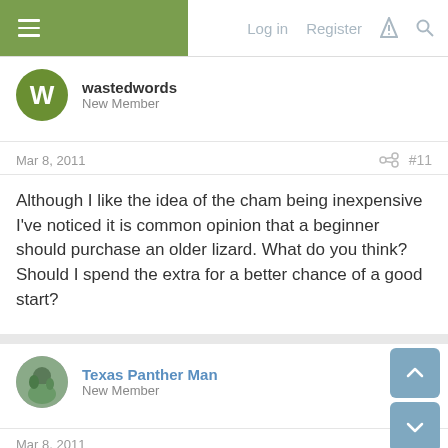Log in  Register
wastedwords
New Member
Mar 8, 2011  #11
Although I like the idea of the cham being inexpensive I've noticed it is common opinion that a beginner should purchase an older lizard. What do you think? Should I spend the extra for a better chance of a good start?
Texas Panther Man
New Member